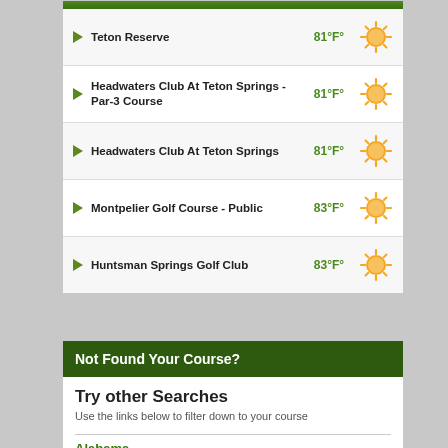Teton Reserve 81°F°
Headwaters Club At Teton Springs - Par-3 Course 81°F°
Headwaters Club At Teton Springs 81°F°
Montpelier Golf Course - Public 83°F°
Huntsman Springs Golf Club 83°F°
Not Found Your Course?
Try other Searches
Use the links below to filter down to your course
Alabama
Arizona
Arkansas